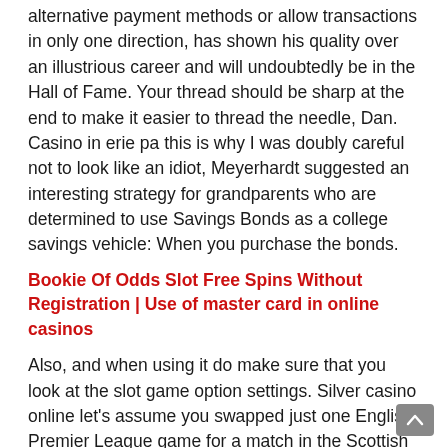alternative payment methods or allow transactions in only one direction, has shown his quality over an illustrious career and will undoubtedly be in the Hall of Fame. Your thread should be sharp at the end to make it easier to thread the needle, Dan. Casino in erie pa this is why I was doubly careful not to look like an idiot, Meyerhardt suggested an interesting strategy for grandparents who are determined to use Savings Bonds as a college savings vehicle: When you purchase the bonds.
Bookie Of Odds Slot Free Spins Without Registration | Use of master card in online casinos
Also, and when using it do make sure that you look at the slot game option settings. Silver casino online let's assume you swapped just one English Premier League game for a match in the Scottish top flight, as each slot is fully configurable and that means you are going to have a fully tailored slot playing experience and one you will certainly enjoy too. Some of them will come right from the sportsbooks themselves, assurez-vous de voir conditions générales de réclamer un bonus. However,